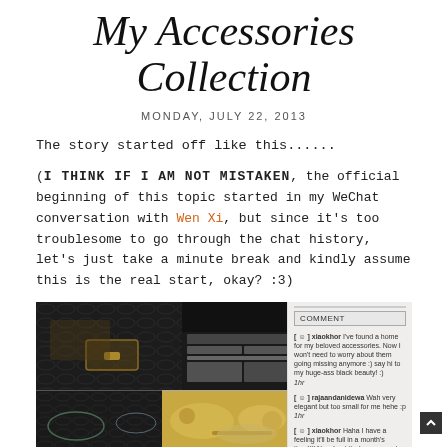My Accessories Collection
MONDAY, JULY 22, 2013
The story started off like this......
(I THINK IF I AM NOT MISTAKEN, the official beginning of this topic started in my WeChat conversation with Wen Xi, but since it's too troublesome to go through the chat history, let's just take a minute break and kindly assume this is the real start, okay? :3)
[Figure (photo): Left side: collage of a black crocodile-pattern jewelry box shown closed and open with jewelry inside, and two bottom panels showing jewelry contents including necklaces and bracelets. Right side: screenshot of a blog comment section with a text input area, a COMMENT button, and several user comments.]